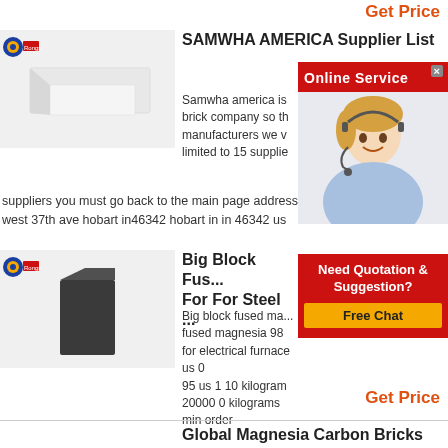Get Price
[Figure (photo): Rongsheng logo and white refractory brick product image]
SAMWHA AMERICA Supplier List
Samwha america is ... brick company so th... manufacturers we v... limited to 15 supplie... suppliers you must go back to the main page address ... west 37th ave hobart in46342 hobart in in 46342 us
[Figure (photo): Online Service popup with female agent wearing headset]
[Figure (photo): Rongsheng logo and dark magnesia carbon block product image]
Big Block Fus... For For Steel ...
Big block fused mag... fused magnesia 98 for electrical furnace us 0 95 us 1 10 kilogram 20000 0 kilograms min order
Get Price
Global Magnesia Carbon Bricks